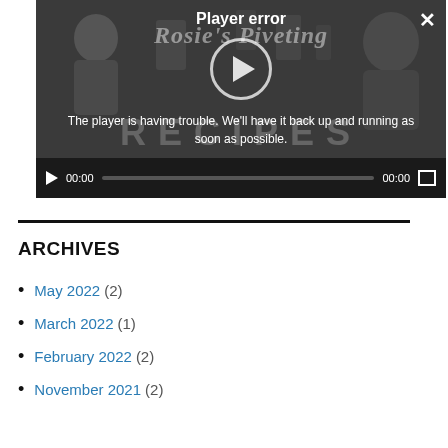[Figure (screenshot): Video player showing 'Rosie's Riveting RECIPES' with a player error overlay: 'Player error — The player is having trouble. We'll have it back up and running as soon as possible.' Controls bar shows play button, 00:00 timestamp, progress bar, 00:00 end time, and fullscreen button.]
ARCHIVES
May 2022 (2)
March 2022 (1)
February 2022 (2)
November 2021 (2)